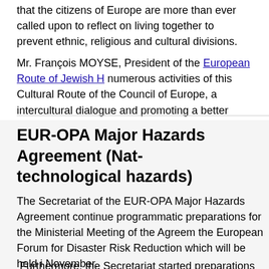that the citizens of Europe are more than ever called upon to reflect on living together to prevent ethnic, religious and cultural divisions.
Mr. François MOYSE, President of the European Route of Jewish H[eritage], numerous activities of this Cultural Route of the Council of Europe, a[nd] intercultural dialogue and promoting a better knowledge and unders[tanding of] European history.
EUR-OPA Major Hazards Agreement (Nat[ural and] technological hazards)
The Secretariat of the EUR-OPA Major Hazards Agreement continue[d the] programmatic preparations for the Ministerial Meeting of the Agreem[ent and] the European Forum for Disaster Risk Reduction which will be held i[n] November.
Furthermore, the Secretariat started preparations for the Editorial B[oard]